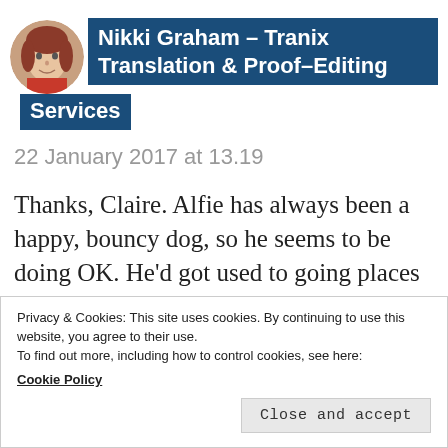Nikki Graham – Tranix Translation & Proof-Editing Services
22 January 2017 at 13.19
Thanks, Claire. Alfie has always been a happy, bouncy dog, so he seems to be doing OK. He'd got used to going places without Lara anyway and they were often in separate rooms. It probably hits him hardest when he's all alone in the
Privacy & Cookies: This site uses cookies. By continuing to use this website, you agree to their use.
To find out more, including how to control cookies, see here:
Cookie Policy
Close and accept